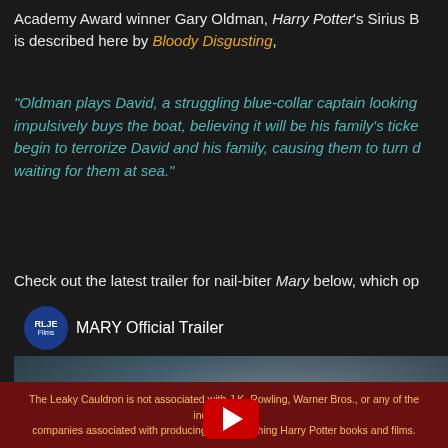Academy Award winner Gary Oldman, Harry Potter's Sirius B... is described here by Bloody Disgusting,
"Oldman plays David, a struggling blue-collar captain looking... impulsively buys the boat, believing it will be his family's ticket... begin to terrorize David and his family, causing them to turn... waiting for them at sea."
Check out the latest trailer for nail-biter Mary below, which op...
[Figure (screenshot): YouTube video thumbnail for MARY Official Trailer by RLJE Films, showing a wet disheveled man with a red YouTube play button overlay]
The Leaky Cauldron is not associated with J.K. Rowling, Warner Bros., or any of the individuals or companies associated with producing and publishing Harry Potter books and films.